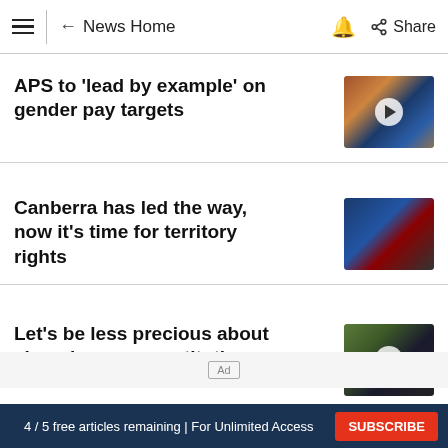News Home  Share
APS to 'lead by example' on gender pay targets
[Figure (photo): Press conference thumbnail with play button]
Canberra has led the way, now it's time for territory rights
[Figure (photo): Politicians at press conference thumbnail]
Let's be less precious about changing our constitution
[Figure (photo): Man at microphone thumbnail with play button]
4 / 5 free articles remaining | For Unlimited Access  SUBSCRIBE